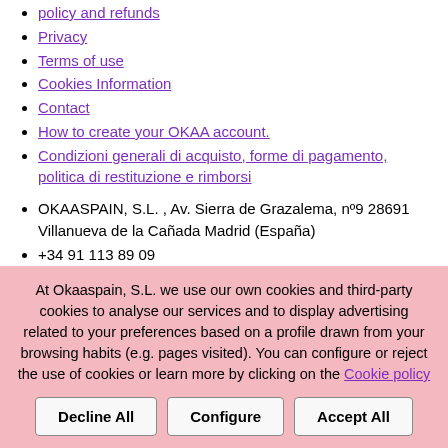policy and refunds
Privacy
Terms of use
Cookies Information
Contact
How to create your OKAA account.
Condizioni generali di acquisto, forme di pagamento, politica di restituzione e rimborsi
OKAASPAIN, S.L. , Av. Sierra de Grazalema, nº9 28691 Villanueva de la Cañada Madrid (España)
+34 91 113 89 09
info@okaaspain.com
Buscar [Search]
Sign in Register
At Okaaspain, S.L. we use our own cookies and third-party cookies to analyse our services and to display advertising related to your preferences based on a profile drawn from your browsing habits (e.g. pages visited). You can configure or reject the use of cookies or learn more by clicking on the Cookie policy